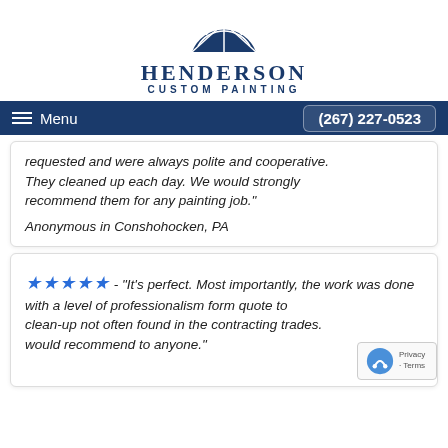[Figure (logo): Henderson Custom Painting logo — dark blue semicircle window shape above company name]
Menu  (267) 227-0523
requested and were always polite and cooperative. They cleaned up each day. We would strongly recommend them for any painting job."
Anonymous in Conshohocken, PA
★★★★★ - "It's perfect. Most importantly, the work was done with a level of professionalism form quote to clean-up not often found in the contracting trades. would recommend to anyone."